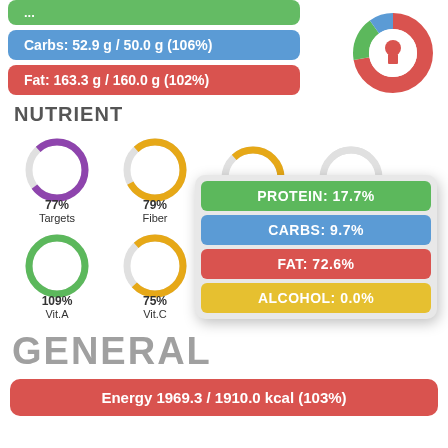[Figure (infographic): Blue bar: Carbs: 52.9 g / 50.0 g (106%)]
[Figure (infographic): Red bar: Fat: 163.3 g / 160.0 g (102%)]
[Figure (donut-chart): Donut chart with red, green, blue, and gray slices]
NUTRIENT
[Figure (infographic): Popup overlay showing PROTEIN: 17.7%, CARBS: 9.7%, FAT: 72.6%, ALCOHOL: 0.0%]
[Figure (donut-chart): Four donut rings: 77% Targets (purple), 79% Fiber (yellow-orange), Iron (partial), Calcium (partial)]
[Figure (donut-chart): Four donut rings: 109% Vit.A (green), 75% Vit.C (yellow), 146% Vit.B12 (green), 43% Folate (yellow)]
GENERAL
[Figure (infographic): Red bar: Energy 1969.3 / 1910.0 kcal (103%)]